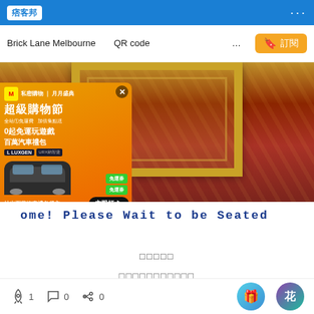痞客邦
Brick Lane Melbourne　　QR code　　　　　　　　　　　　　　　...
[Figure (photo): Photo of ornate golden-framed furniture/sign on red marbled floor, partially obscured by advertisement overlay]
Welcome! Please Wait to be Seated
（Chinese characters in blue）
（Chinese characters）
（Chinese characters）
🚀1  💬0  ↗0